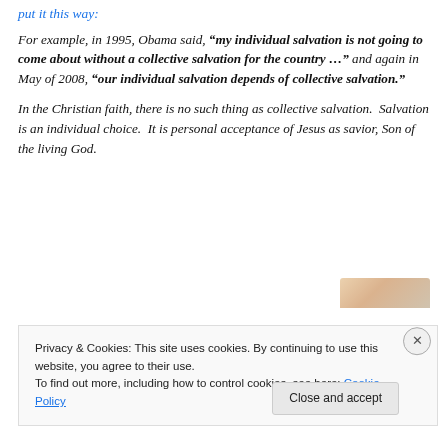put it this way:
For example, in 1995, Obama said, “my individual salvation is not going to come about without a collective salvation for the country …” and again in May of 2008, “our individual salvation depends of collective salvation.”
In the Christian faith, there is no such thing as collective salvation.  Salvation is an individual choice.  It is personal acceptance of Jesus as savior, Son of the living God.
Privacy & Cookies: This site uses cookies. By continuing to use this website, you agree to their use.
To find out more, including how to control cookies, see here: Cookie Policy
Close and accept